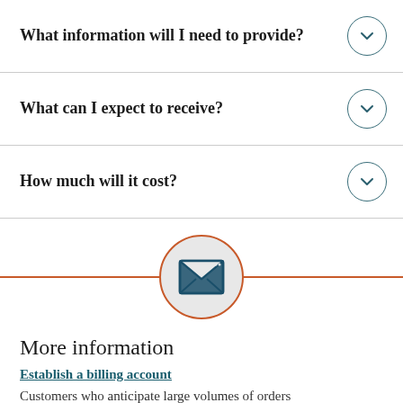What information will I need to provide?
What can I expect to receive?
How much will it cost?
[Figure (illustration): Orange horizontal line with a centered circle containing a mail/envelope icon on a light gray background, with an orange circular border.]
More information
Establish a billing account
Customers who anticipate large volumes of orders